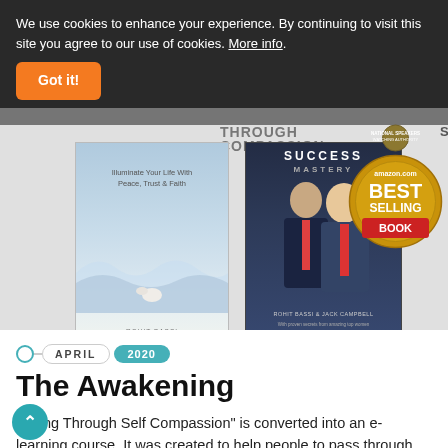We use cookies to enhance your experience. By continuing to visit this site you agree to our use of cookies. More info.
[Figure (illustration): Book covers and Amazon best-selling badge. Three book covers visible: 'Living Through Self Compassion' by Rohit Bassi, 'Success Mastery' by Rohit Bassi and Jack Campbell, and an Amazon Best Selling Book badge.]
APRIL 2020
The Awakening
"Living Through Self Compassion" is converted into an e-learning course. It was created to help people to pass through the